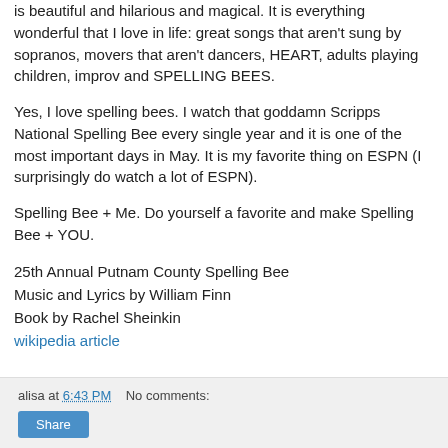is beautiful and hilarious and magical. It is everything wonderful that I love in life: great songs that aren't sung by sopranos, movers that aren't dancers, HEART, adults playing children, improv and SPELLING BEES.
Yes, I love spelling bees. I watch that goddamn Scripps National Spelling Bee every single year and it is one of the most important days in May. It is my favorite thing on ESPN (I surprisingly do watch a lot of ESPN).
Spelling Bee + Me. Do yourself a favorite and make Spelling Bee + YOU.
25th Annual Putnam County Spelling Bee
Music and Lyrics by William Finn
Book by Rachel Sheinkin
wikipedia article
alisa at 6:43 PM    No comments:
Share